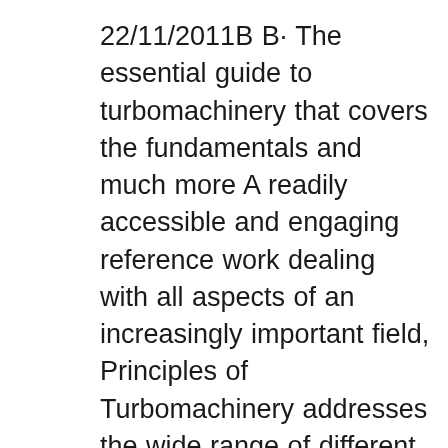22/11/2011B B· The essential guide to turbomachinery that covers the fundamentals and much more A readily accessible and engaging reference work dealing with all aspects of an increasingly important field, Principles of Turbomachinery addresses the wide range of different types of machines that transfer energy between a rotor and a fluid. Tags: fluid mechanics thermodynamics of turbomachinery, Principles of Turbomachinery in Air Breathing Engines By Steven E. Hughes Pdf, principles of turbomachinery korpela pdf download, principles of turbomachinery korpela solution manual, principles of turbomachinery korpela solution manual pdf, principles